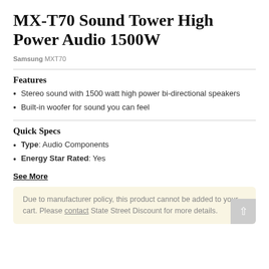MX-T70 Sound Tower High Power Audio 1500W
Samsung MXT70
Features
Stereo sound with 1500 watt high power bi-directional speakers
Built-in woofer for sound you can feel
Quick Specs
Type: Audio Components
Energy Star Rated: Yes
See More
Due to manufacturer policy, this product cannot be added to your cart. Please contact State Street Discount for more details.